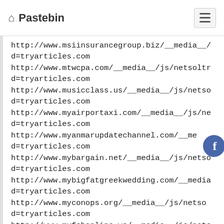Pastebin
http://www.msiinsurancegroup.biz/__media__/js/netsoltrademark...d=tryarticles.com
http://www.mtwcpa.com/__media__/js/netsoltrademark...d=tryarticles.com
http://www.musicclass.us/__media__/js/netsoltrademark...d=tryarticles.com
http://www.myairportaxi.com/__media__/js/netsoltrademark...d=tryarticles.com
http://www.myanmarupdatechannel.com/__media__/js/netsoltrademark...d=tryarticles.com
http://www.mybargain.net/__media__/js/netsoltrademark...d=tryarticles.com
http://www.mybigfatgreekwedding.com/__media__/js/netsoltrademark...d=tryarticles.com
http://www.myconops.org/__media__/js/netsoltrademark...d=tryarticles.com
http://www.myfsbonline.ws/__media__/js/netsoltrademark...d=tryarticles.com
http://www.mykitchen.com/__media__/js/netsoltrademark...d=tryarticles.com http://www.mynational-amusements.com/__media__/js/netsoltrademark...d=tryarticles.com
http://www.myp2psoccer.com/__media__/js/netsoltrademark...d=tryarticles.com